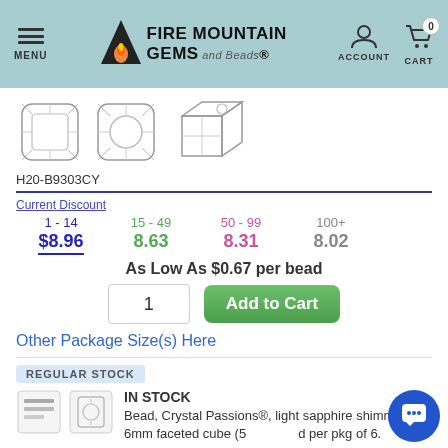MENU | FIRE MOUNTAIN GEMS and Beads | ACCOUNT | CART 0
[Figure (illustration): Three product views of a faceted cube bead: front face view, top-down circle view, 3D perspective view]
H20-B9303CY
| Current Discount |  |  |  |
| --- | --- | --- | --- |
| 1 - 14 | 15 - 49 | 50 - 99 | 100+ |
| $8.96 | 8.63 | 8.31 | 8.02 |
As Low As $0.67 per bead
1 [quantity input] Add to Cart
Other Package Size(s) Here
REGULAR STOCK
IN STOCK
Bead, Crystal Passions®, light sapphire shimmer, 6mm faceted cube (5 per pkg of 6.